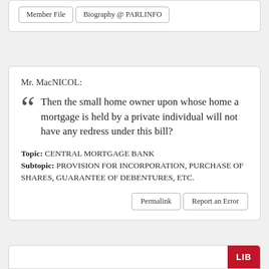Member File | Biography @ PARLINFO
Mr. MacNICOL:
Then the small home owner upon whose home a mortgage is held by a private individual will not have any redress under this bill?
Topic: CENTRAL MORTGAGE BANK
Subtopic: PROVISION FOR INCORPORATION, PURCHASE OF SHARES, GUARANTEE OF DEBENTURES, ETC.
Permalink
Report an Error
LIB